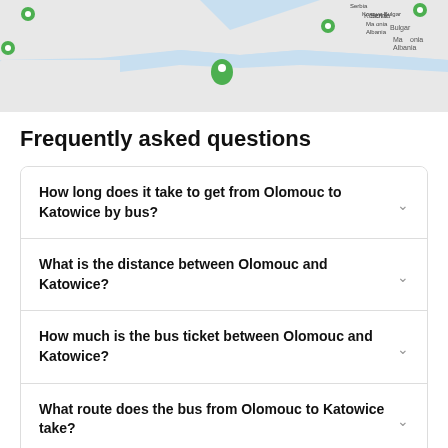[Figure (map): Map showing Europe with green location pin markers, light blue water, country outlines with labels including Andorra, Monaco, San Marino, Italy, Vatican, Kosovo, Bulgaria, Macedonia, Albania, Serbia]
Frequently asked questions
How long does it take to get from Olomouc to Katowice by bus?
What is the distance between Olomouc and Katowice?
How much is the bus ticket between Olomouc and Katowice?
What route does the bus from Olomouc to Katowice take?